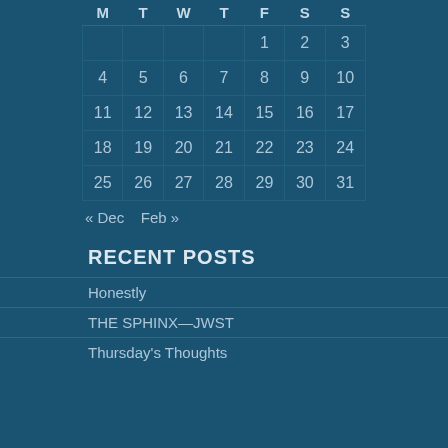| M | T | W | T | F | S | S |
| --- | --- | --- | --- | --- | --- | --- |
|  |  |  |  | 1 | 2 | 3 |
| 4 | 5 | 6 | 7 | 8 | 9 | 10 |
| 11 | 12 | 13 | 14 | 15 | 16 | 17 |
| 18 | 19 | 20 | 21 | 22 | 23 | 24 |
| 25 | 26 | 27 | 28 | 29 | 30 | 31 |
« Dec   Feb »
RECENT POSTS
Honestly
THE SPHINX—JWST
Thursday's Thoughts